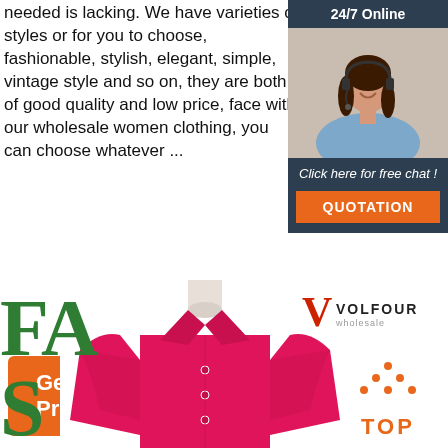needed is lacking. We have varieties of styles or for you to choose, fashionable, stylish, elegant, simple, vintage style and so on, they are both of good quality and low price, face with our wholesale women clothing, you can choose whatever ...
[Figure (infographic): Chat widget: dark teal background with '24/7 Online' header, photo of smiling woman with headset, 'Click here for free chat!' text, and orange QUOTATION button]
[Figure (other): Orange 'Get Price' button]
[Figure (photo): Mannequin wearing a bright pink/magenta button-up women's blouse shirt]
[Figure (logo): Volfour logo with red V and brand name VOLFOUR]
[Figure (other): TOP navigation button with orange dots forming triangle icon and TOP text]
FA (partial FASHION text visible at bottom left)